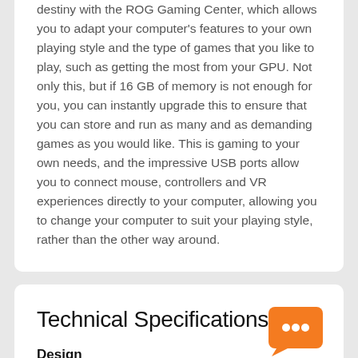destiny with the ROG Gaming Center, which allows you to adapt your computer's features to your own playing style and the type of games that you like to play, such as getting the most from your GPU. Not only this, but if 16 GB of memory is not enough for you, you can instantly upgrade this to ensure that you can store and run as many and as demanding games as you would like. This is gaming to your own needs, and the impressive USB ports allow you to connect mouse, controllers and VR experiences directly to your computer, allowing you to change your computer to suit your playing style, rather than the other way around.
Technical Specifications
Design